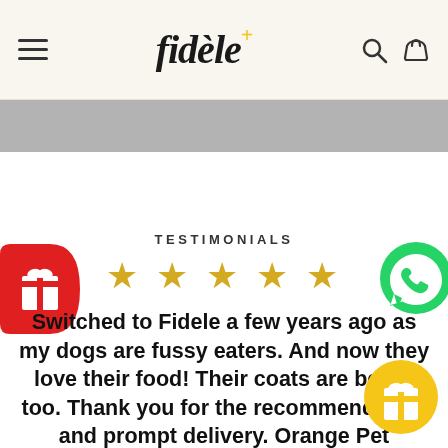fidèle+
TESTIMONIALS
[Figure (other): Five gold star rating]
Switched to Fidele a few years ago as my dogs are fussy eaters. And now they love their food! Their coats are better too. Thank you for the recommendation and prompt delivery. Orange Pet Nutrition!